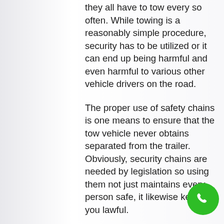they all have to tow every so often. While towing is a reasonably simple procedure, security has to be utilized or it can end up being harmful and even harmful to various other vehicle drivers on the road.
The proper use of safety chains is one means to ensure that the tow vehicle never obtains separated from the trailer. Obviously, security chains are needed by legislation so using them not just maintains every person safe, it likewise keeps you lawful.
When making use of safety chains during towing, it is essential that the chains go across under the tongue of the trailer. If for any type of reason the trailer were to become detached from the hitch, those
[Figure (other): Green circular phone call button icon in the bottom right corner]